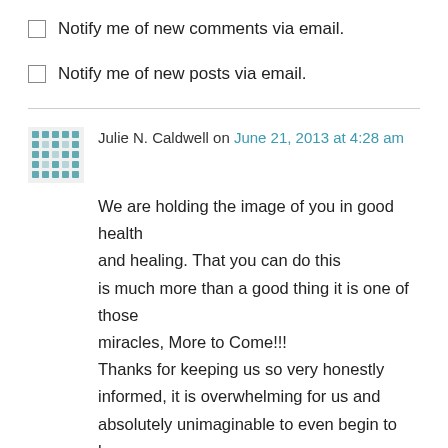Notify me of new comments via email.
Notify me of new posts via email.
Julie N. Caldwell on June 21, 2013 at 4:28 am
We are holding the image of you in good health and healing. That you can do this is much more than a good thing it is one of those miracles, More to Come!!!
Thanks for keeping us so very honestly informed, it is overwhelming for us and absolutely unimaginable to even begin to know how it is for you.
Just received the most loving e-mail from Mariya, she and Scarlet are Sistas!!
We hope to see her here in Idaho in Sept while